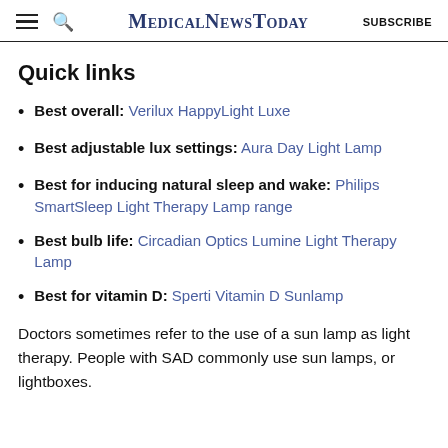MedicalNewsToday  SUBSCRIBE
Quick links
Best overall: Verilux HappyLight Luxe
Best adjustable lux settings: Aura Day Light Lamp
Best for inducing natural sleep and wake: Philips SmartSleep Light Therapy Lamp range
Best bulb life: Circadian Optics Lumine Light Therapy Lamp
Best for vitamin D: Sperti Vitamin D Sunlamp
Doctors sometimes refer to the use of a sun lamp as light therapy. People with SAD commonly use sun lamps, or lightboxes.